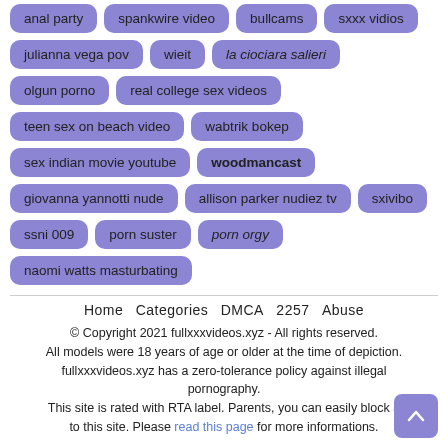anal party
spankwire video
bullcams
sxxx vidios
julianna vega pov
wieit
la ciociara salieri
olgun porno
real college sex videos
teen sex on beach video
wabtrik bokep
sex indian movie youtube
woodmancast
giovanna yannotti nude
allison parker nudiez tv
sxivibo
ssni 009
porn suster
porn orgy
naomi watts masturbating
Home  Categories  DMCA  2257  Abuse
© Copyright 2021 fullxxxvideos.xyz - All rights reserved.
All models were 18 years of age or older at the time of depiction.
fullxxxvideos.xyz has a zero-tolerance policy against illegal pornography.
This site is rated with RTA label. Parents, you can easily block access to this site. Please read this page for more informations.